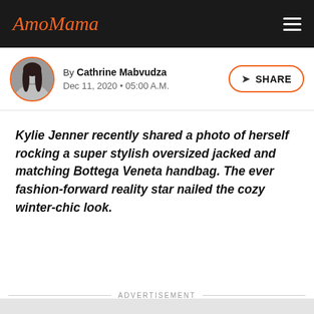AmoMama
By Cathrine Mabvudza
Dec 11, 2020 • 05:00 A.M.
Kylie Jenner recently shared a photo of herself rocking a super stylish oversized jacked and matching Bottega Veneta handbag. The ever fashion-forward reality star nailed the cozy winter-chic look.
ADVERTISEMENT